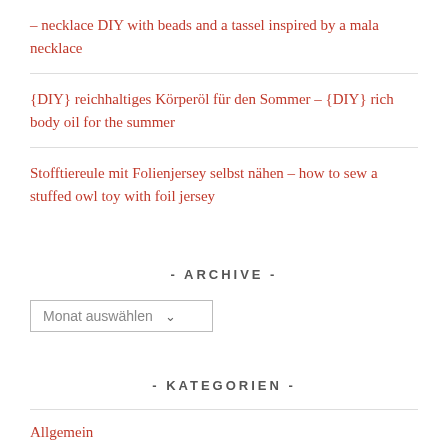– necklace DIY with beads and a tassel inspired by a mala necklace
{DIY} reichhaltiges Körperöl für den Sommer – {DIY} rich body oil for the summer
Stofftiereule mit Folienjersey selbst nähen – how to sew a stuffed owl toy with foil jersey
- ARCHIVE -
Monat auswählen
- KATEGORIEN -
Allgemein
Berlin